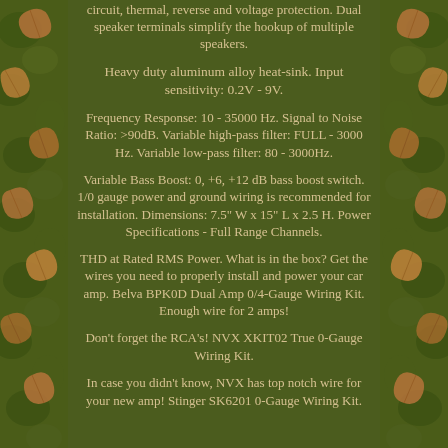circuit, thermal, reverse and voltage protection. Dual speaker terminals simplify the hookup of multiple speakers.
Heavy duty aluminum alloy heat-sink. Input sensitivity: 0.2V - 9V.
Frequency Response: 10 - 35000 Hz. Signal to Noise Ratio: >90dB. Variable high-pass filter: FULL - 3000 Hz. Variable low-pass filter: 80 - 3000Hz.
Variable Bass Boost: 0, +6, +12 dB bass boost switch. 1/0 gauge power and ground wiring is recommended for installation. Dimensions: 7.5" W x 15" L x 2.5 H. Power Specifications - Full Range Channels.
THD at Rated RMS Power. What is in the box? Get the wires you need to properly install and power your car amp. Belva BPK0D Dual Amp 0/4-Gauge Wiring Kit. Enough wire for 2 amps!
Don't forget the RCA's! NVX XKIT02 True 0-Gauge Wiring Kit.
In case you didn't know, NVX has top notch wire for your new amp! Stinger SK6201 0-Gauge Wiring Kit.